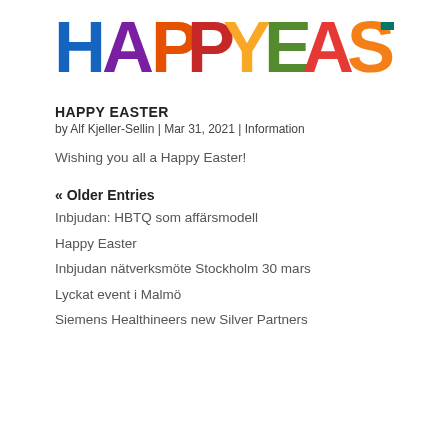[Figure (illustration): Colorful rainbow-lettered 'HAPPY EASTER' banner text image with each letter in a different color (blue, purple, orange, red, yellow, green, etc.)]
HAPPY EASTER
by Alf Kjeller-Sellin | Mar 31, 2021 | Information
Wishing you all a Happy Easter!
« Older Entries
Inbjudan: HBTQ som affärsmodell
Happy Easter
Inbjudan nätverksmöte Stockholm 30 mars
Lyckat event i Malmö
Siemens Healthineers new Silver Partners